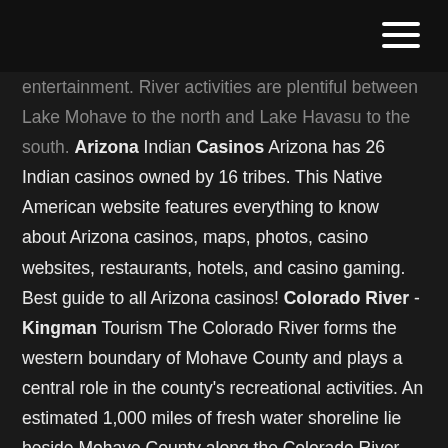[navigation menu icon]
entertainment. River activities are plentiful between Lake Mohave to the north and Lake Havasu to the south. Arizona Indian Casinos Arizona has 26 Indian casinos owned by 16 tribes. This Native American website features everything to know about Arizona casinos, maps, photos, casino websites, restaurants, hotels, and casino gaming. Best guide to all Arizona casinos! Colorado River - Kingman Tourism The Colorado River forms the western boundary of Mohave County and plays a central role in the county's recreational activities. An estimated 1,000 miles of fresh water shoreline lie beside Mohave County along the Colorado River. This water is made up by Lake Havasu, Lake Mohave and Lake Mead. Grand Canyon Hotels - West Canyon - GrandCanyon.com ALL Las Vegas, Nevada Hotels Kingman,